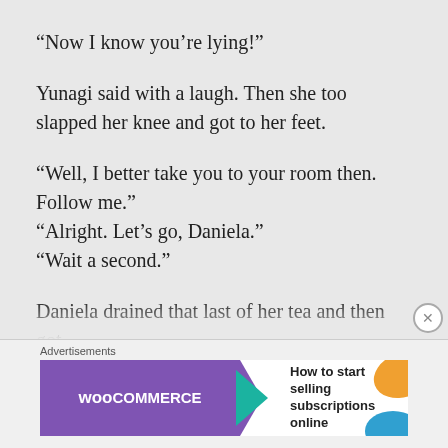“Now I know you’re lying!”
Yunagi said with a laugh. Then she too slapped her knee and got to her feet.
“Well, I better take you to your room then. Follow me.”
“Alright. Let’s go, Daniela.”
“Wait a second.”
Daniela drained that last of her tea and then got up. And soon followed after Yunagi
[Figure (screenshot): WooCommerce advertisement banner: purple background with WooCommerce logo and text 'How to start selling subscriptions online']
Advertisements